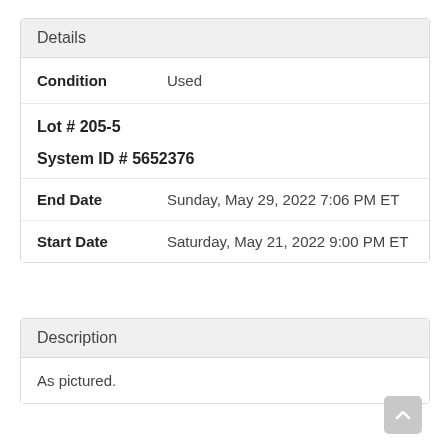Details
| Condition | Used |
| Lot # 205-5 |  |
| System ID # 5652376 |  |
| End Date | Sunday, May 29, 2022 7:06 PM ET |
| Start Date | Saturday, May 21, 2022 9:00 PM ET |
Description
As pictured.